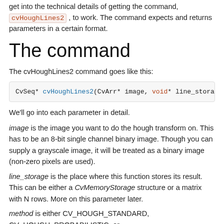get into the technical details of getting the command, cvHoughLines2, to work. The command expects and returns parameters in a certain format.
The command
The cvHoughLines2 command goes like this:
[Figure (screenshot): Code block showing: CvSeq* cvHoughLines2(CvArr* image, void* line_storage, i...]
We'll go into each parameter in detail.
image is the image you want to do the hough transform on. This has to be an 8-bit single channel binary image. Though you can supply a grayscale image, it will be treated as a binary image (non-zero pixels are used).
line_storage is the place where this function stores its result. This can be either a CvMemoryStorage structure or a matrix with N rows. More on this parameter later.
method is either CV_HOUGH_STANDARD, CV_HOUGH_PROBABILISTIC, or CV_HOUGH_MULTI_SCALE. And you can guess they're for